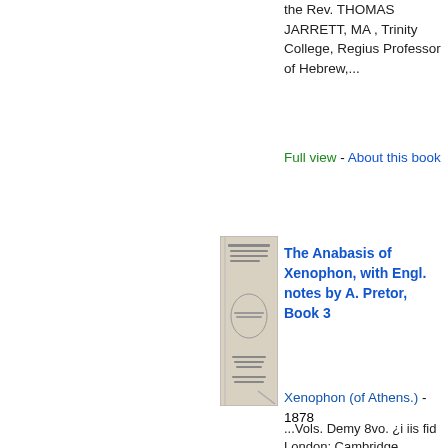the Rev. THOMAS JARRETT, MA , Trinity College, Regius Professor of Hebrew,...
Full view - About this book
[Figure (illustration): Book cover thumbnail of The Anabasis of Xenophon]
The Anabasis of Xenophon, with Engl. notes by A. Pretor, Book 3
Xenophon (of Athens.) - 1878
...Vols. Demy 8vo. ¿i iis fid London: Cambridge Warehouse, 17 Paternoster Row. SANSKRIT. Nalopkkhyanam, or, The Tale of Nala; containing the Sanskrit Text...to derived words in cognate languages, and a sketch ot Sanskrit Grammar. By